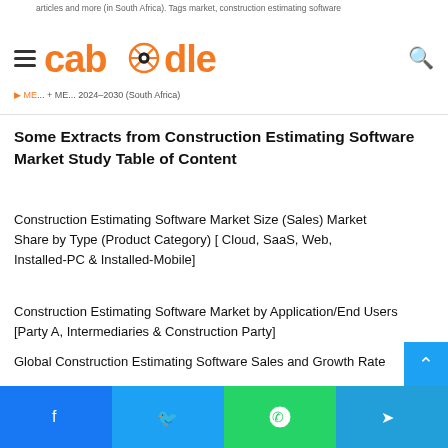caboodle
Some Extracts from Construction Estimating Software Market Study Table of Content
Construction Estimating Software Market Size (Sales) Market Share by Type (Product Category) [ Cloud, SaaS, Web, Installed-PC & Installed-Mobile]
Construction Estimating Software Market by Application/End Users [Party A, Intermediaries & Construction Party]
Global Construction Estimating Software Sales and Growth Rate
Construction Estimating Software Competition by Players/Suppliers, Region, Type and Application
Construction Estimating Software (Value, Volume and Sale...
Facebook Twitter WhatsApp Telegram